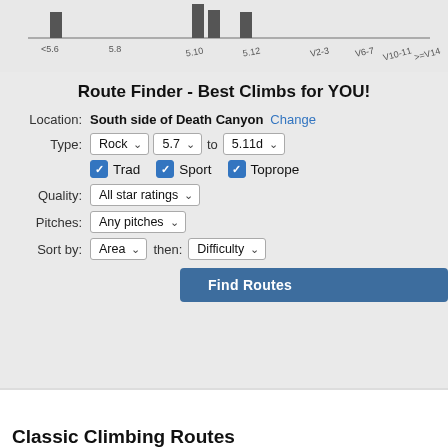[Figure (bar-chart): Climbing difficulty histogram]
Route Finder - Best Climbs for YOU!
Location: South side of Death Canyon Change
Type: Rock 5.7 to 5.11d
Trad Sport Toprope
Quality: All star ratings
Pitches: Any pitches
Sort by: Area then: Difficulty
Find Routes
Classic Climbing Routes